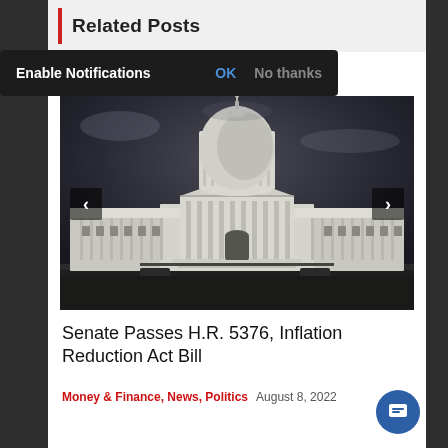Related Posts
Enable Notifications   OK   No thanks
[Figure (photo): Black and white dramatic photo of the United States Capitol building with dark stormy sky. The dome is prominent in the center with the building's classical columns and steps visible.]
Senate Passes H.R. 5376, Inflation Reduction Act Bill
Money & Finance, News, Politics   August 8, 2022